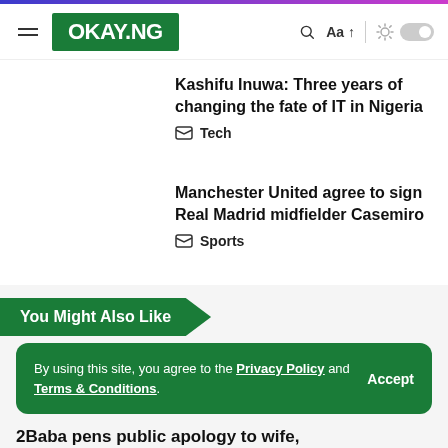OKAY.NG
Kashifu Inuwa: Three years of changing the fate of IT in Nigeria
Tech
Manchester United agree to sign Real Madrid midfielder Casemiro
Sports
You Might Also Like
Kizz Daniel announces free show for Tanzanian fans, tenders apology
By using this site, you agree to the Privacy Policy and Terms & Conditions.
2Baba pens public apology to wife,